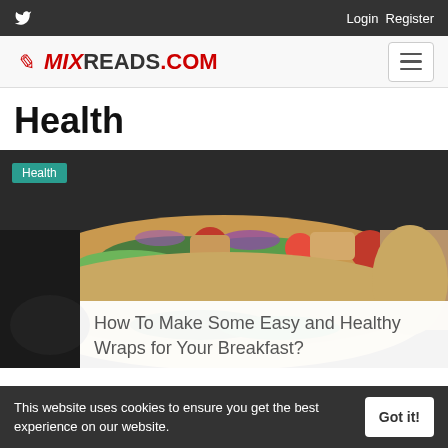Twitter Login Register
[Figure (logo): MixReads.com logo with red italic text and hamburger menu button]
Health
[Figure (photo): Close-up photo of pita bread wraps filled with lettuce, tomatoes, red onion, and chicken with a Health badge overlay and article title overlay reading: How To Make Some Easy and Healthy Wraps for Your Breakfast?]
How To Make Some Easy and Healthy Wraps for Your Breakfast?
This website uses cookies to ensure you get the best experience on our website. Got it!